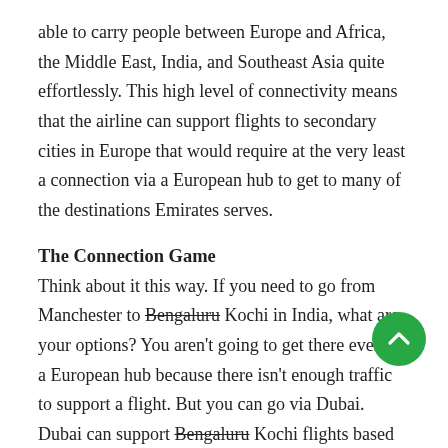able to carry people between Europe and Africa, the Middle East, India, and Southeast Asia quite effortlessly. This high level of connectivity means that the airline can support flights to secondary cities in Europe that would require at the very least a connection via a European hub to get to many of the destinations Emirates serves.
The Connection Game
Think about it this way. If you need to go from Manchester to Bengaluru Kochi in India, what are your options? You aren't going to get there even via a European hub because there isn't enough traffic to support a flight. But you can go via Dubai. Dubai can support Bengaluru Kochi flights based on local demand plus connections from the same places the European airlines fly as well as from the Middle East and Africa.